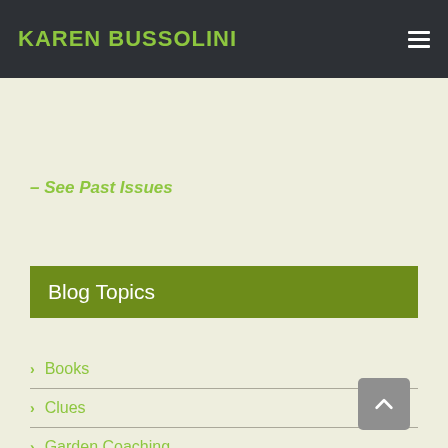KAREN BUSSOLINI
– See Past Issues
Blog Topics
> Books
> Clues
> Garden Coaching
> Great Plants